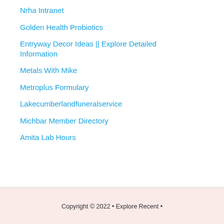Nrha Intranet
Golden Health Probiotics
Entryway Decor Ideas || Explore Detailed Information
Metals With Mike
Metroplus Formulary
Lakecumberlandfuneralservice
Michbar Member Directory
Amita Lab Hours
Copyright © 2022 • Explore Recent •